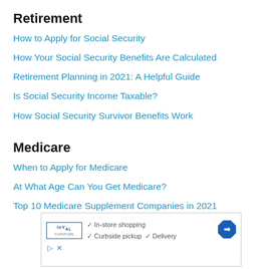Retirement
How to Apply for Social Security
How Your Social Security Benefits Are Calculated
Retirement Planning in 2021: A Helpful Guide
Is Social Security Income Taxable?
How Social Security Survivor Benefits Work
Medicare
When to Apply for Medicare
At What Age Can You Get Medicare?
Top 10 Medicare Supplement Companies in 2021
[Figure (other): Advertisement banner for Loyal showing checkmarks for In-store shopping, Curbside pickup, and Delivery with a blue diamond navigation arrow icon]